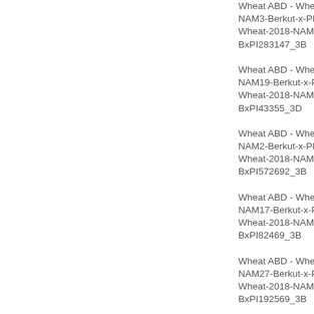Wheat ABD - Wheat NAM3-Berkut-x-PI28 Wheat-2018-NAM3-BxPI283147_3B
Wheat ABD - Wheat NAM19-Berkut-x-PI4 Wheat-2018-NAM19-BxPI43355_3D
Wheat ABD - Wheat NAM2-Berkut-x-PI57 Wheat-2018-NAM2-BxPI572692_3B
Wheat ABD - Wheat NAM17-Berkut-x-PI8 Wheat-2018-NAM17-BxPI82469_3B
Wheat ABD - Wheat NAM27-Berkut-x-PI1 Wheat-2018-NAM27-BxPI192569_3B
Wheat ABD - Wheat NAM14-Berkut-x-PI7 Wheat-2018-NAM14-BxPI70613_3B
Wheat ABD - Wheat NAM15-Berkut-x-Cl1 Wheat-2018-NAM15-